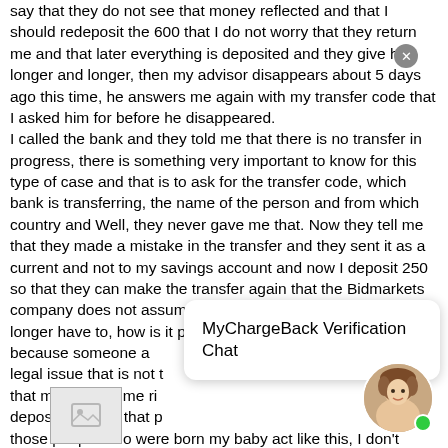say that they do not see that money reflected and that I should redeposit the 600 that I do not worry that they return me and that later everything is deposited and they give him longer and longer, then my advisor disappears about 5 days ago this time, he answers me again with my transfer code that I asked him for before he disappeared.
I called the bank and they told me that there is no transfer in progress, there is something very important to know for this type of case and that is to ask for the transfer code, which bank is transferring, the name of the person and from which country and Well, they never gave me that. Now they tell me that they made a mistake in the transfer and they sent it as a current and not to my savings account and now I deposit 250 so that they can make the transfer again that the Bidmarkets company does not assume those costs ; I told him that I no longer have to, how is it possible that they want to charge me because someone a legal issue that is not t that money is in me ri deposit a penny that p those people who were born my baby act like this, I don't understand how they can do harm to people and fe 'm.
DO NOT FALL INTO THIS SCAM
[Figure (other): Chat popup overlay with text 'MyChargeBack Verification Chat' and a female avatar with green online indicator dot]
[Figure (other): Small image placeholder thumbnail at the bottom of the page]